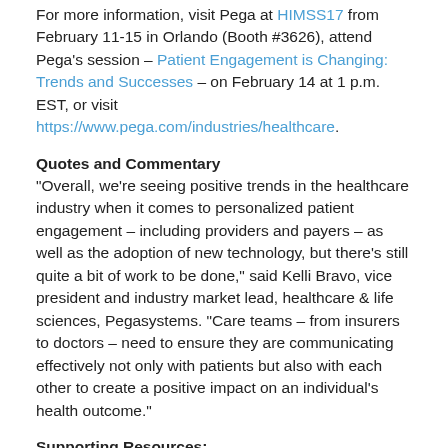For more information, visit Pega at HIMSS17 from February 11-15 in Orlando (Booth #3626), attend Pega's session – Patient Engagement is Changing: Trends and Successes – on February 14 at 1 p.m. EST, or visit https://www.pega.com/industries/healthcare.
Quotes and Commentary
"Overall, we're seeing positive trends in the healthcare industry when it comes to personalized patient engagement – including providers and payers – as well as the adoption of new technology, but there's still quite a bit of work to be done," said Kelli Bravo, vice president and industry market lead, healthcare & life sciences, Pegasystems. "Care teams – from insurers to doctors – need to ensure they are communicating effectively not only with patients but also with each other to create a positive impact on an individual's health outcome."
Supporting Resources:
eBook: Healthcare should be personalized, proactive, and preemptive